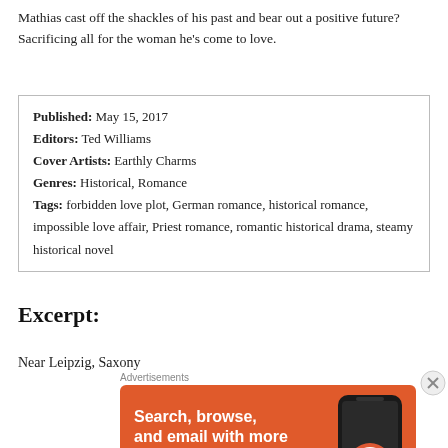Mathias cast off the shackles of his past and bear out a positive future? Sacrificing all for the woman he’s come to love.
| Published: | May 15, 2017 |
| Editors: | Ted Williams |
| Cover Artists: | Earthly Charms |
| Genres: | Historical, Romance |
| Tags: | forbidden love plot, German romance, historical romance, impossible love affair, Priest romance, romantic historical drama, steamy historical novel |
Excerpt:
Near Leipzig, Saxony
[Figure (other): DuckDuckGo advertisement: 'Search, browse, and email with more privacy. All in One Free App' with phone graphic and DuckDuckGo logo on orange background.]